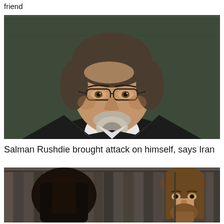friend
[Figure (photo): Portrait photo of Salman Rushdie, an older man with glasses, grey beard, wearing a dark blazer and white shirt, against a dark green background]
Salman Rushdie brought attack on himself, says Iran
[Figure (photo): Photo showing a person with long dark hair from behind (left) and a man with long brown hair and beard looking through what appears to be fence slats (right), against a dark wooden fence background]